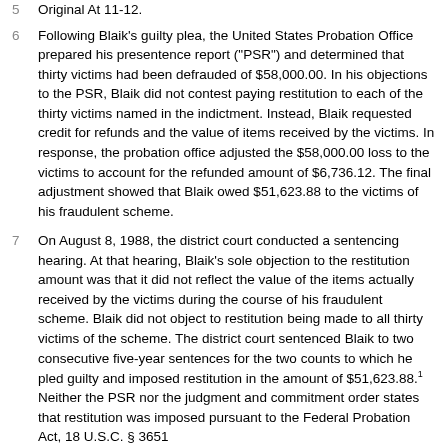Original At 11-12.
Following Blaik's guilty plea, the United States Probation Office prepared his presentence report ("PSR") and determined that thirty victims had been defrauded of $58,000.00. In his objections to the PSR, Blaik did not contest paying restitution to each of the thirty victims named in the indictment. Instead, Blaik requested credit for refunds and the value of items received by the victims. In response, the probation office adjusted the $58,000.00 loss to the victims to account for the refunded amount of $6,736.12. The final adjustment showed that Blaik owed $51,623.88 to the victims of his fraudulent scheme.
On August 8, 1988, the district court conducted a sentencing hearing. At that hearing, Blaik's sole objection to the restitution amount was that it did not reflect the value of the items actually received by the victims during the course of his fraudulent scheme. Blaik did not object to restitution being made to all thirty victims of the scheme. The district court sentenced Blaik to two consecutive five-year sentences for the two counts to which he pled guilty and imposed restitution in the amount of $51,623.88.[1] Neither the PSR nor the judgment and commitment order states that restitution was imposed pursuant to the Federal Probation Act, 18 U.S.C. § 3651